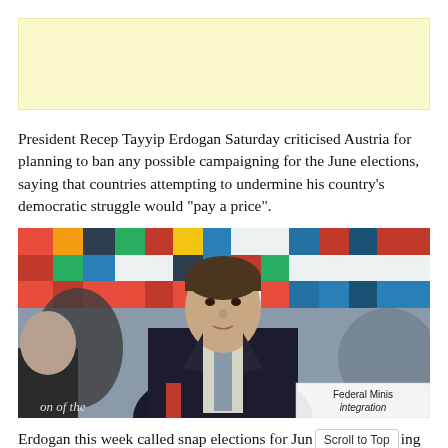[Figure (other): Yellow/cream colored advertisement banner placeholder]
President Recep Tayyip Erdogan Saturday criticised Austria for planning to ban any possible campaigning for the June elections, saying that countries attempting to undermine his country’s democratic struggle would “pay a price”.
[Figure (photo): A young man in a dark suit with a grey tie seated at a conference table, with multiple national flags visible in the background. A nameplate reading 'Federal Minis integration' is partially visible in the lower right. Text reading 'on of the' is partially visible at the bottom left.]
Erdogan this week called snap elections for Jun [Scroll to Top] ing